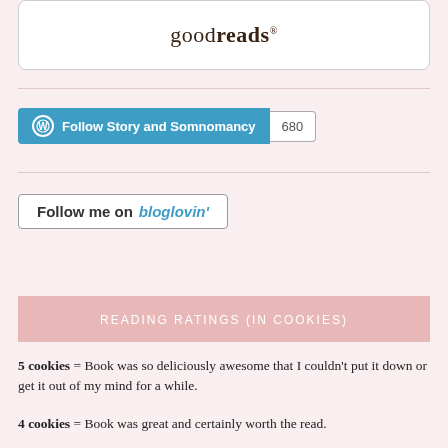[Figure (logo): Goodreads logo inside a rounded white box]
[Figure (other): WordPress Follow Story and Somnomancy button with follower count 680]
[Figure (other): Follow me on bloglovin button]
READING RATINGS (IN COOKIES)
5 cookies = Book was so deliciously awesome that I couldn't put it down or get it out of my mind for a while.
4 cookies = Book was great and certainly worth the read.